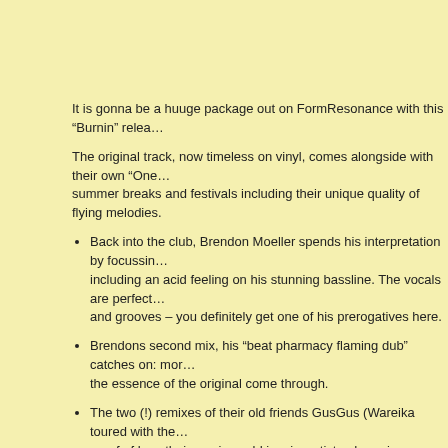It is gonna be a huuge package out on FormResonance with this “Burnin” relea…
The original track, now timeless on vinyl, comes alongside with their own “One… summer breaks and festivals including their unique quality of flying melodies.
Back into the club, Brendon Moeller spends his interpretation by focussin… including an acid feeling on his stunning bassline. The vocals are perfect… and grooves – you definitely get one of his prerogatives here.
Brendons second mix, his “beat pharmacy flaming dub” catches on: mor… the essence of the original come through.
The two (!) remixes of their old friends GusGus (Wareika toured with the… proof of how their music could inspire artists: dreaming, ethereal atmosp… GusGus adds their fat modular synth-sound with a stunning shuffled Sou… sweetest chord sound ever – based on the original composition of Warei…
Their vision of electronic music can be heard in the Alex Flatner & LOPA… include modern production techniques as fluent as the feeling for an org… become a spokesman by creating odd rhythms flowing together…creatin…